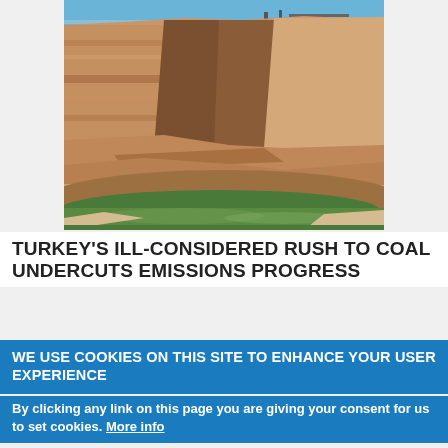[Figure (photo): Aerial or close-up view of red/tan sandstone canyon cliffs with a narrow body of green water at the base, blue sky at the top. Appears to be Lake Powell or similar southwestern US canyon landscape.]
TURKEY'S ILL-CONSIDERED RUSH TO COAL UNDERCUTS EMISSIONS PROGRESS
WE USE COOKIES ON THIS SITE TO ENHANCE YOUR USER EXPERIENCE
By clicking any link on this page you are giving your consent for us to set cookies. More info